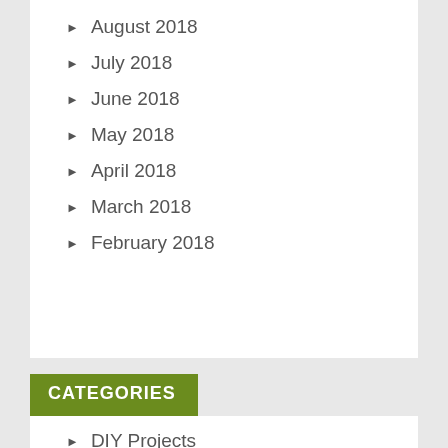August 2018
July 2018
June 2018
May 2018
April 2018
March 2018
February 2018
CATEGORIES
DIY Projects